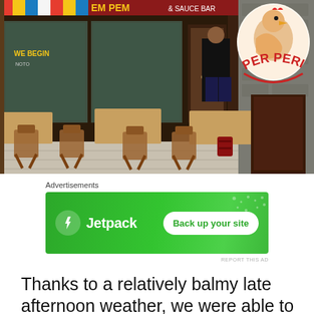[Figure (photo): Outdoor seating area of a Peri Peri restaurant ('& Sauce Bar') with wooden chairs and tables on the pavement. A person in a black shirt is entering the restaurant. A rooster/chicken mascot sign reading 'PER PERI' is visible on the right. The storefront has colorful striped awning in red, yellow, blue and green.]
Advertisements
[Figure (other): Green advertisement banner for Jetpack with a lightning bolt icon and 'Back up your site' button]
REPORT THIS AD
Thanks to a relatively balmy late afternoon weather, we were able to opt for the larger